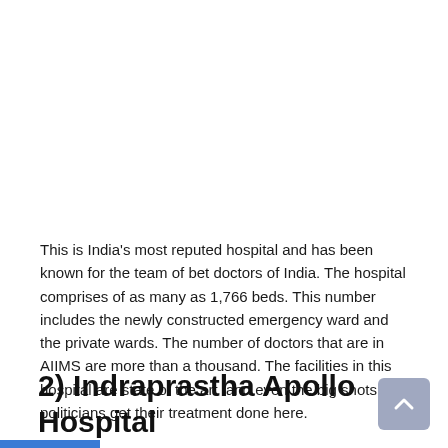This is India's most reputed hospital and has been known for the team of bet doctors of India. The hospital comprises of as many as 1,766 beds. This number includes the newly constructed emergency ward and the private wards. The number of doctors that are in AIIMS are more than a thousand. The facilities in this hospital are state of the art  and even the big shots and politicians get their treatment done here.
2) Indraprastha Apollo Hospital